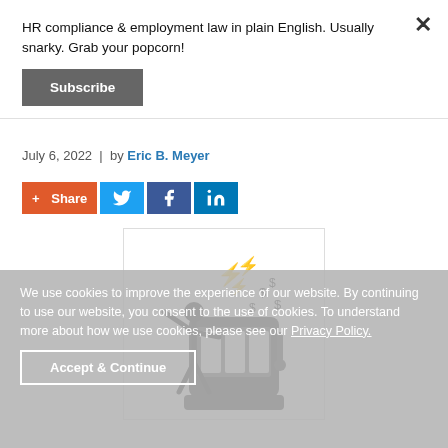HR compliance & employment law in plain English. Usually snarky. Grab your popcorn!
Subscribe
July 6, 2022  |  by Eric B. Meyer
+ Share
[Figure (illustration): Stick figure person celebrating at a slot machine with lightning bolts and dollar signs flying around]
We use cookies to improve the experience of our website. By continuing to use our website, you consent to the use of cookies. To understand more about how we use cookies, please see our Privacy Policy.
Accept & Continue